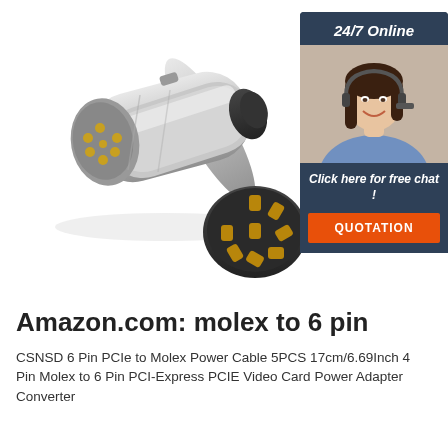[Figure (photo): Product photo of a silver metallic 7-pin DIN connector plug (molex style) with gold/bronze pins visible at the face, plus a separate black circular pin socket insert shown in the lower right of the image area. A customer service representative (woman with headset) is shown in an overlaid chat widget on the right side.]
Amazon.com: molex to 6 pin
CSNSD 6 Pin PCIe to Molex Power Cable 5PCS 17cm/6.69Inch 4 Pin Molex to 6 Pin PCI-Express PCIE Video Card Power Adapter Converter